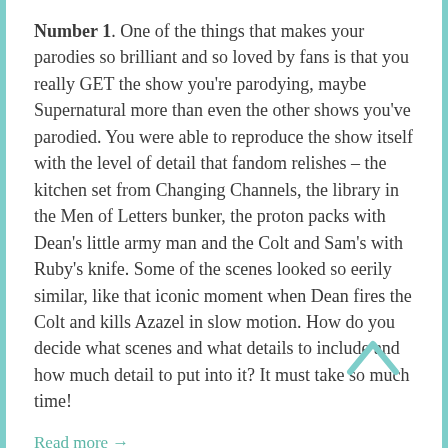Number 1. One of the things that makes your parodies so brilliant and so loved by fans is that you really GET the show you're parodying, maybe Supernatural more than even the other shows you've parodied. You were able to reproduce the show itself with the level of detail that fandom relishes – the kitchen set from Changing Channels, the library in the Men of Letters bunker, the proton packs with Dean's little army man and the Colt and Sam's with Ruby's knife. Some of the scenes looked so eerily similar, like that iconic moment when Dean fires the Colt and kills Azazel in slow motion. How do you decide what scenes and what details to include and how much detail to put into it? It must take so much time!
Read more →